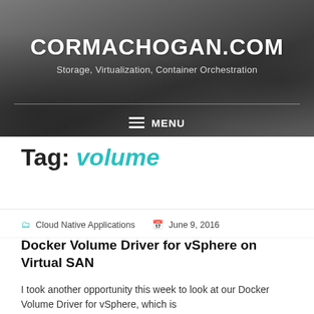CORMACHOGAN.COM
Storage, Virtualization, Container Orchestration
MENU
Tag: volume
Cloud Native Applications  June 9, 2016
Docker Volume Driver for vSphere on Virtual SAN
I took another opportunity this week to look at our Docker Volume Driver for vSphere, which is